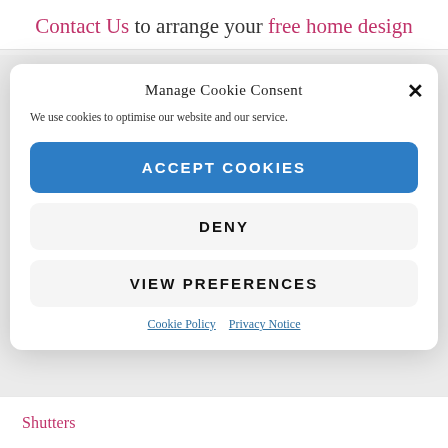Contact Us to arrange your free home design
Manage Cookie Consent
We use cookies to optimise our website and our service.
ACCEPT COOKIES
DENY
VIEW PREFERENCES
Cookie Policy  Privacy Notice
Shutters